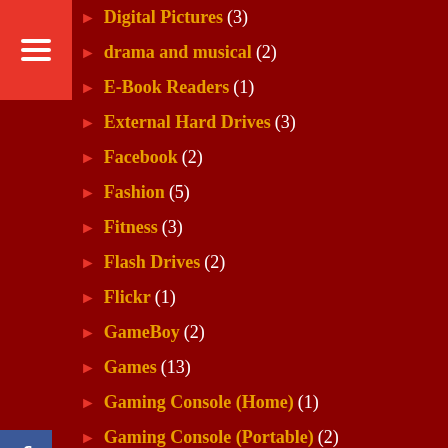Digital Pictures (3)
drama and musical (2)
E-Book Readers (1)
External Hard Drives (3)
Facebook (2)
Fashion (5)
Fitness (3)
Flash Drives (2)
Flickr (1)
GameBoy (2)
Games (13)
Gaming Console (Home) (1)
Gaming Console (Portable) (2)
Google Plus+ (1)
GPS (2)
Hacks (3)
Headphones (1)
Headsets (5)
HP (3)